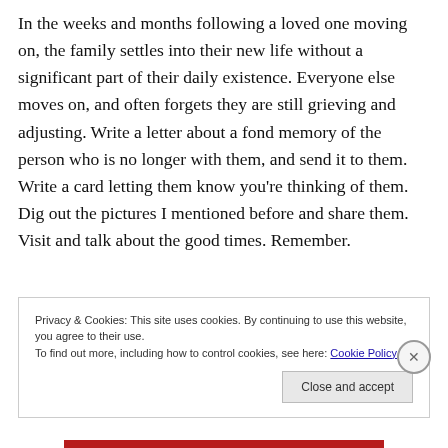In the weeks and months following a loved one moving on, the family settles into their new life without a significant part of their daily existence. Everyone else moves on, and often forgets they are still grieving and adjusting. Write a letter about a fond memory of the person who is no longer with them, and send it to them. Write a card letting them know you're thinking of them. Dig out the pictures I mentioned before and share them. Visit and talk about the good times. Remember.
Privacy & Cookies: This site uses cookies. By continuing to use this website, you agree to their use.
To find out more, including how to control cookies, see here: Cookie Policy